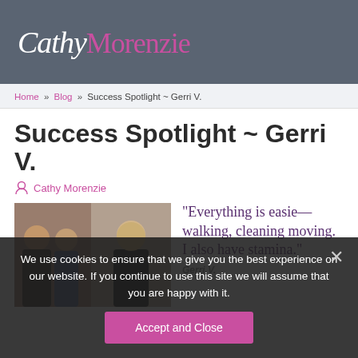[Figure (logo): Cathy Morenzie website logo, cursive Cathy in white and Morenzie in purple/magenta, on dark gray header background]
Home » Blog » Success Spotlight ~ Gerri V.
Success Spotlight ~ Gerri V.
Cathy Morenzie
[Figure (photo): Two side-by-side photos showing groups of smiling women]
"Everything is easie—walking, cleaning moving. I also have stamina."
Gerri V.
We use cookies to ensure that we give you the best experience on our website. If you continue to use this site we will assume that you are happy with it.